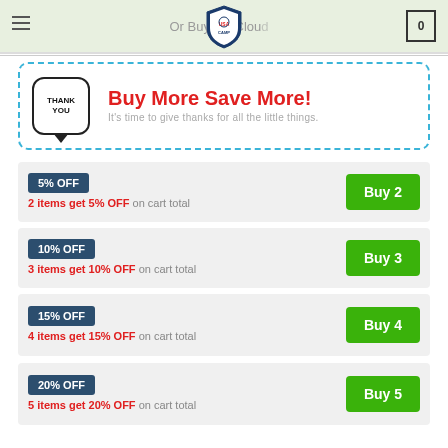Or Buy On Cloud | USA Camp Logo | 0
[Figure (infographic): Thank You speech bubble icon with dashed blue border promotional banner: Buy More Save More! It's time to give thanks for all the little things.]
5% OFF — 2 items get 5% OFF on cart total | Buy 2
10% OFF — 3 items get 10% OFF on cart total | Buy 3
15% OFF — 4 items get 15% OFF on cart total | Buy 4
20% OFF — 5 items get 20% OFF on cart total | Buy 5